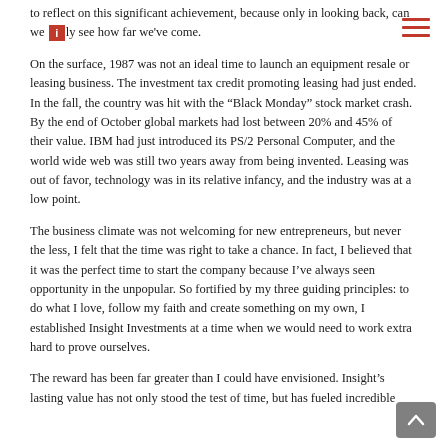to reflect on this significant achievement, because only in looking back, can we truly see how far we've come.
On the surface, 1987 was not an ideal time to launch an equipment resale or leasing business. The investment tax credit promoting leasing had just ended. In the fall, the country was hit with the “Black Monday” stock market crash. By the end of October global markets had lost between 20% and 45% of their value. IBM had just introduced its PS/2 Personal Computer, and the world wide web was still two years away from being invented. Leasing was out of favor, technology was in its relative infancy, and the industry was at a low point.
The business climate was not welcoming for new entrepreneurs, but never the less, I felt that the time was right to take a chance. In fact, I believed that it was the perfect time to start the company because I’ve always seen opportunity in the unpopular. So fortified by my three guiding principles: to do what I love, follow my faith and create something on my own, I established Insight Investments at a time when we would need to work extra hard to prove ourselves.
The reward has been far greater than I could have envisioned. Insight’s lasting value has not only stood the test of time, but has fueled incredible